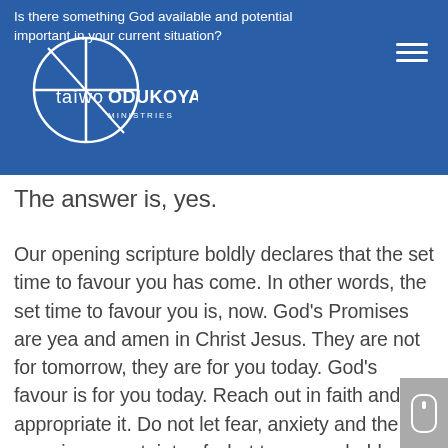Is there something God available and potential important in your current situation?
[Figure (logo): Taiwo Odukoya Ministries logo — circular line drawing with cross, white on blue background, with text 'taiwoODUKOYA MINISTRIES']
The answer is, yes.
Our opening scripture boldly declares that the set time to favour you has come. In other words, the set time to favour you is, now. God’s Promises are yea and amen in Christ Jesus. They are not for tomorrow, they are for you today. God’s favour is for you today. Reach out in faith and appropriate it. Do not let fear, anxiety and the seeming uncertainty of what tomorrow holds rob you of the possibilities available to you today in Christ Jesus. God has arisen. He has had mercy on you. He has favoured you. Do not see yourself any less